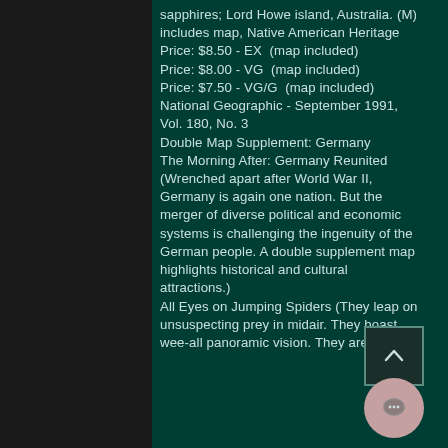sapphires; Lord Howe island, Australia. (M) includes map, Native American Heritage
Price: $8.50 - EX  (map included)
Price: $8.00 - VG  (map included)
Price: $7.50 - VG/G  (map included)
National Geographic - September 1991, Vol. 180, No. 3
Double Map Supplement: Germany
The Morning After: Germany Reunited (Wrenched apart after World War II, Germany is again one nation. But the merger of diverse political and economic systems is challenging the ingenuity of the German people. A double supplement map highlights historical and cultural attractions.)
All Eyes on Jumping Spiders (They leap on unsuspecting prey in midair. They boast wee-all panoramic vision. They are the...